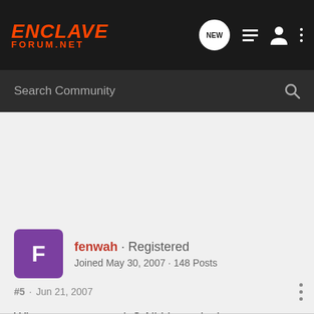ENCLAVE FORUM.NET
Search Community
fenwah · Registered
Joined May 30, 2007 · 148 Posts
#5 · Jun 21, 2007
What state are you in? All I know is that you can get it for another $2k off that price (including conquest) if you live in Michigan.